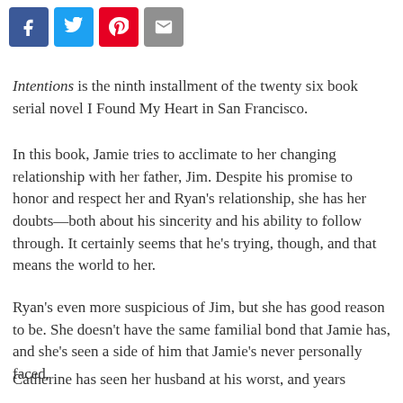[Figure (other): Social sharing buttons: Facebook (blue), Twitter (light blue), Pinterest (red), Email (gray)]
Intentions is the ninth installment of the twenty six book serial novel I Found My Heart in San Francisco.
In this book, Jamie tries to acclimate to her changing relationship with her father, Jim. Despite his promise to honor and respect her and Ryan's relationship, she has her doubts—both about his sincerity and his ability to follow through. It certainly seems that he's trying, though, and that means the world to her.
Ryan's even more suspicious of Jim, but she has good reason to be. She doesn't have the same familial bond that Jamie has, and she's seen a side of him that Jamie's never personally faced.
Catherine has seen her husband at his worst, and years